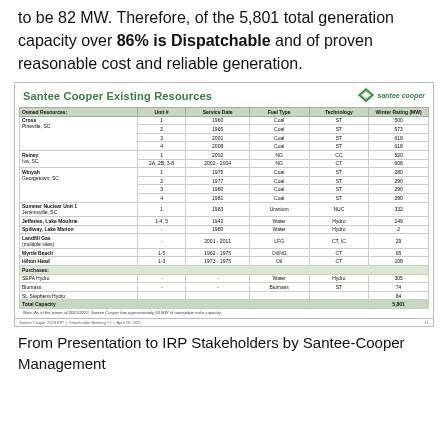to be 82 MW. Therefore, of the 5,801 total generation capacity over 86% is Dispatchable and of proven reasonable cost and reliable generation.
[Figure (table-as-image): Santee Cooper Existing Resources table showing owned and purchased generation resources with columns for Unit #, Service Date, Fuel Type, Technology, and Winter Rating (MW). Includes Cross, Rainey, Winyah, Summer Nuclear Unit 1, Jefferies/Lake Moultrie, Spillway/Lake Marion, Landfill Gas, Myrtle Beach, Hilton Head, SEPA Hydro, Biomass, St. Stephens Hydro. Total Capacity 5,801 MW.]
From Presentation to IRP Stakeholders by Santee-Cooper Management